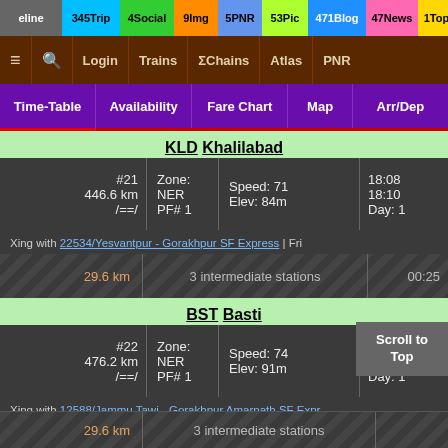Timeline 345 Trip 4 Social 9 Img 5 PNR 53 Pic 471 Blog 47 News 1 Topic
≡  Login  Trains  ΣChains  Atlas  PNR
Time-Table  Availability  Fare Chart  Map  Arr/Dep
KLD Khalilabad
|  | Zone/PF | Speed/Elev | Time |
| --- | --- | --- | --- |
| #21 | Zone: NER | Speed: 71 | 18:08 |
| 446.6 km | PF# 1 | Elev: 84m | 18:10 |
| /==/ |  |  | Day: 1 |
Xing with 22534/Yesvantpur - Gorakhpur SF Express | Fri
29.6 km  3 intermediate stations  00:25
BST Basti
|  | Zone/PF | Speed/Elev | Time |
| --- | --- | --- | --- |
| #22 | Zone: NER | Speed: 74 | 18:35 |
| 476.2 km | PF# 1 | Elev: 91m | 18:38 |
| /==/ |  |  | Day: 1 |
Xing with 12588/Jammu Tawi - Gorakhpur Amarnath SF Expr... more ...
29.6 km  3 intermediate stations